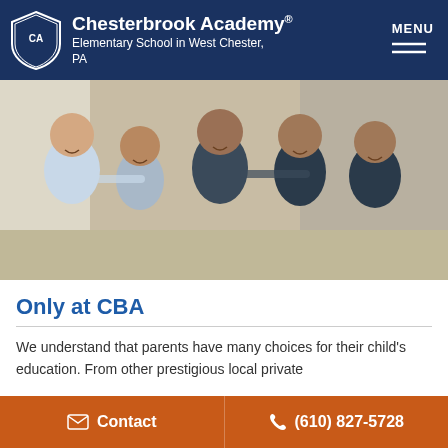Chesterbrook Academy® Elementary School in West Chester, PA
[Figure (photo): Five elementary school children in uniforms smiling together in a school hallway]
Only at CBA
We understand that parents have many choices for their child's education. From other prestigious local private
Contact  (610) 827-5728